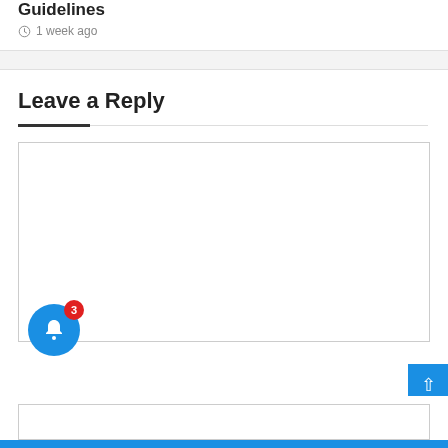Guidelines
1 week ago
Leave a Reply
[Figure (screenshot): Comment text area input box (empty)]
[Figure (screenshot): Notification bell icon with badge showing 3 and scroll-to-top blue button]
[Figure (screenshot): Name input field (empty)]